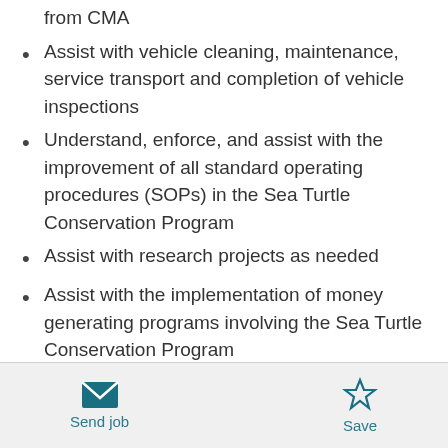from CMA
Assist with vehicle cleaning, maintenance, service transport and completion of vehicle inspections
Understand, enforce, and assist with the improvement of all standard operating procedures (SOPs) in the Sea Turtle Conservation Program
Assist with research projects as needed
Assist with the implementation of money generating programs involving the Sea Turtle Conservation Program
Assist various CMA departments by providing
Send job  Save